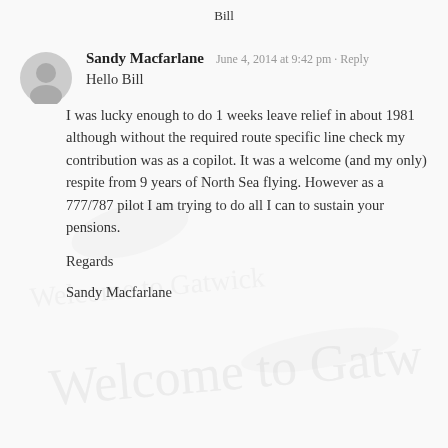Bill
Sandy Macfarlane
June 4, 2014 at 9:42 pm · Reply
Hello Bill
I was lucky enough to do 1 weeks leave relief in about 1981 although without the required route specific line check my contribution was as a copilot. It was a welcome (and my only) respite from 9 years of North Sea flying. However as a 777/787 pilot I am trying to do all I can to sustain your pensions.
Regards
Sandy Macfarlane